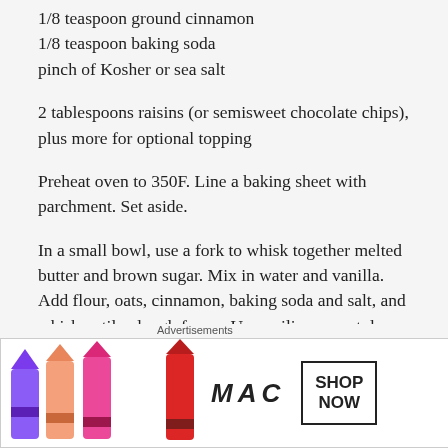1/8 teaspoon ground cinnamon
1/8 teaspoon baking soda
pinch of Kosher or sea salt
2 tablespoons raisins (or semisweet chocolate chips), plus more for optional topping
Preheat oven to 350F. Line a baking sheet with parchment. Set aside.
In a small bowl, use a fork to whisk together melted butter and brown sugar. Mix in water and vanilla. Add flour, oats, cinnamon, baking soda and salt, and whisk until a dough forms. Use a silicone spatula or spoon to mix/fold in raisins (or chocolate chips).
[Figure (other): MAC cosmetics advertisement showing lipsticks in purple, pink, and red shades with MAC logo and SHOP NOW button]